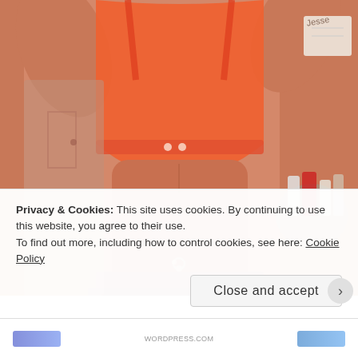[Figure (photo): A mirror selfie photograph of a fit woman wearing an orange sports bra and mauve/dusty rose high-waisted leggings, flexing her arm to show muscular definition and visible abdominal muscles. Background shows a bathroom with a door and a shelf with various personal care products on the right side.]
Privacy & Cookies: This site uses cookies. By continuing to use this website, you agree to their use.
To find out more, including how to control cookies, see here: Cookie Policy
Close and accept